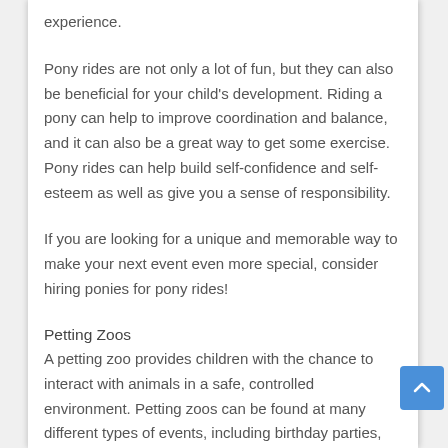experience.
Pony rides are not only a lot of fun, but they can also be beneficial for your child's development. Riding a pony can help to improve coordination and balance, and it can also be a great way to get some exercise. Pony rides can help build self-confidence and self-esteem as well as give you a sense of responsibility.
If you are looking for a unique and memorable way to make your next event even more special, consider hiring ponies for pony rides!
Petting Zoos
A petting zoo provides children with the chance to interact with animals in a safe, controlled environment. Petting zoos can be found at many different types of events, including birthday parties, fairs, festivals, and